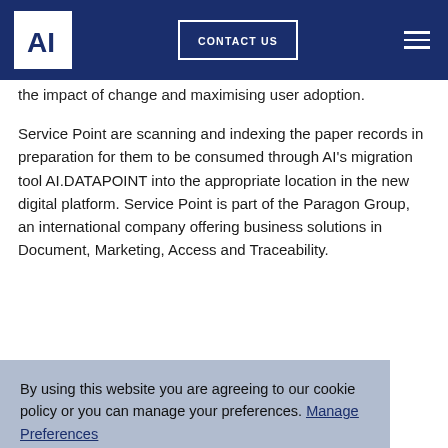AI logo | CONTACT US | Menu
the impact of change and maximising user adoption.
Service Point are scanning and indexing the paper records in preparation for them to be consumed through AI's migration tool AI.DATAPOINT into the appropriate location in the new digital platform. Service Point is part of the Paragon Group, an international company offering business solutions in Document, Marketing, Access and Traceability.
By using this website you are agreeing to our cookie policy or you can manage your preferences. Manage Preferences
I Accept
WE CAN HELP YOU IMPLEMENT AN INFORMATION GOVERNANCE